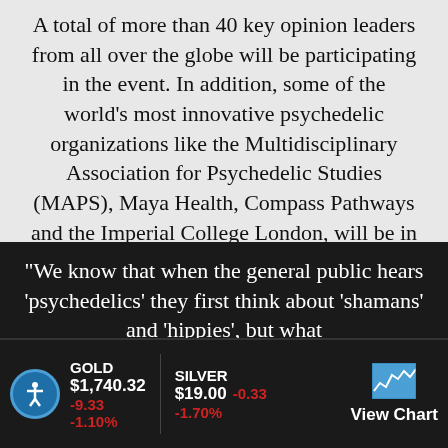A total of more than 40 key opinion leaders from all over the globe will be participating in the event. In addition, some of the world's most innovative psychedelic organizations like the Multidisciplinary Association for Psychedelic Studies (MAPS), Maya Health, Compass Pathways and the Imperial College London, will be in attendance.
“We know that when the general public hears ‘psychedelics’ they first think about ‘shamans’ and ‘hippies’, but what
GOLD $1,740.32 -9.33 -1.10%   SILVER $19.00 -0.33 -1.70%   View Chart